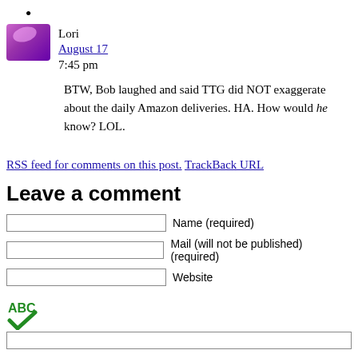[Figure (photo): Purple/pink avatar image with highlight shine, partially cropped at top]
Lori
August 17
7:45 pm
BTW, Bob laughed and said TTG did NOT exaggerate about the daily Amazon deliveries. HA. How would he know? LOL.
RSS feed for comments on this post. TrackBack URL
Leave a comment
Name (required)
Mail (will not be published) (required)
Website
[Figure (illustration): ABC spellcheck icon with green checkmark]